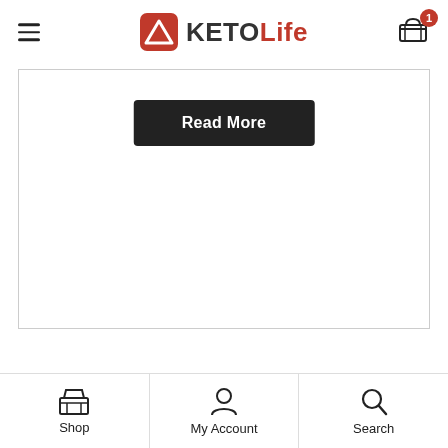KEROLife — navigation header with logo and cart
[Figure (screenshot): Read More button on a white card with border]
Copyright © 2020 KEROLife
Site by Ignition CBS
Terms & Conditions   Privacy Policy
[Figure (infographic): Bottom navigation bar with Shop, My Account, Search icons]